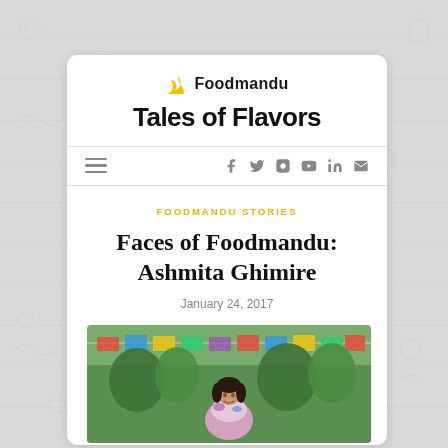Foodmandu — Tales of Flavors
FOODMANDU STORIES
Faces of Foodmandu: Ashmita Ghimire
January 24, 2017
[Figure (photo): Photo of Ashmita Ghimire standing outdoors in front of colorful prayer flags and trees, smiling at camera, wearing a floral scarf.]